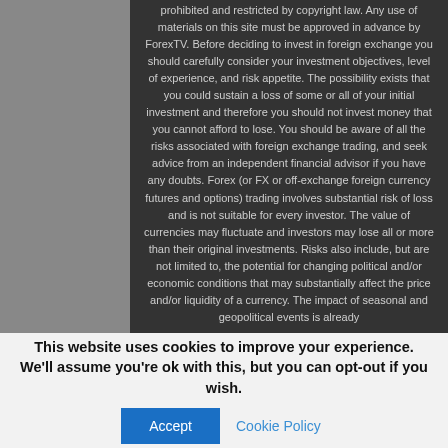prohibited and restricted by copyright law. Any use of materials on this site must be approved in advance by ForexTV. Before deciding to invest in foreign exchange you should carefully consider your investment objectives, level of experience, and risk appetite. The possibility exists that you could sustain a loss of some or all of your initial investment and therefore you should not invest money that you cannot afford to lose. You should be aware of all the risks associated with foreign exchange trading, and seek advice from an independent financial advisor if you have any doubts. Forex (or FX or off-exchange foreign currency futures and options) trading involves substantial risk of loss and is not suitable for every investor. The value of currencies may fluctuate and investors may lose all or more than their original investments. Risks also include, but are not limited to, the potential for changing political and/or economic conditions that may substantially affect the price and/or liquidity of a currency. The impact of seasonal and geopolitical events is already
This website uses cookies to improve your experience. We'll assume you're ok with this, but you can opt-out if you wish.
Accept
Cookie Policy